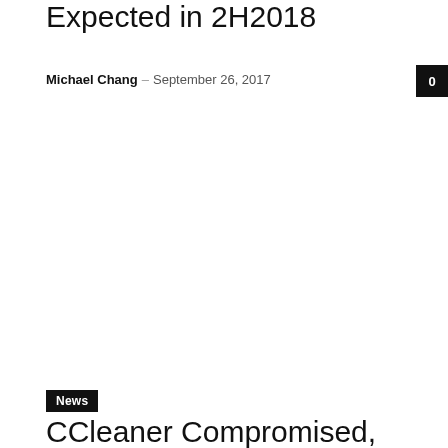Expected in 2H2018
Michael Chang – September 26, 2017
0
News
CCleaner Compromised, Hackers Install